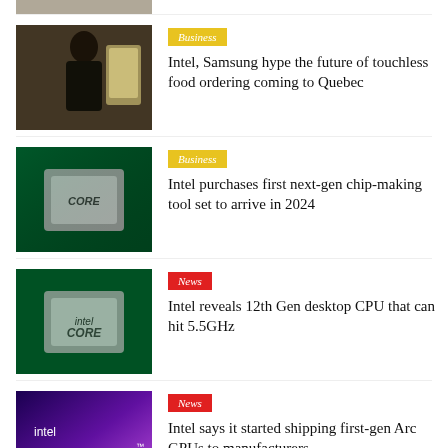[Figure (photo): Partial view of top article image (cropped at top)]
[Figure (photo): Woman interacting with a digital touchscreen kiosk showing food ordering interface]
Business
Intel, Samsung hype the future of touchless food ordering coming to Quebec
[Figure (photo): Intel Core processor chip on a glowing green circuit board]
Business
Intel purchases first next-gen chip-making tool set to arrive in 2024
[Figure (photo): Intel Core processor chip on a glowing green circuit board]
News
Intel reveals 12th Gen desktop CPU that can hit 5.5GHz
[Figure (photo): Intel Arc logo on a blue and purple gradient background]
News
Intel says it started shipping first-gen Arc GPUs to manufacturers